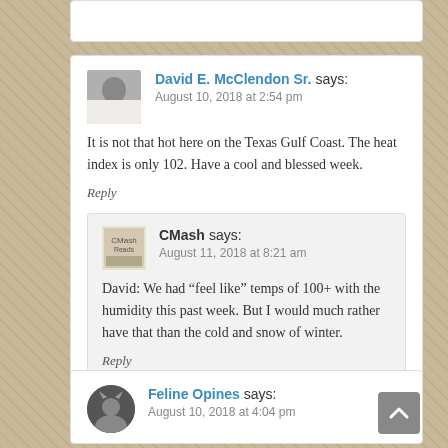David E. McClendon Sr. says: August 10, 2018 at 2:54 pm
It is not that hot here on the Texas Gulf Coast. The heat index is only 102. Have a cool and blessed week.
Reply
CMash says: August 11, 2018 at 8:21 am
David: We had “feel like” temps of 100+ with the humidity this past week. But I would much rather have that than the cold and snow of winter.
Reply
Feline Opines says: August 10, 2018 at 4:04 pm